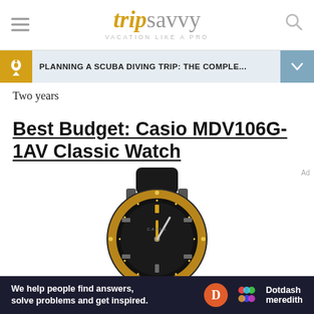tripsavvy VACATION LIKE A PRO
PLANNING A SCUBA DIVING TRIP: THE COMPLE...
Two years
Best Budget: Casio MDV106G-1AV Classic Watch
[Figure (photo): Casio MDV106G-1AV Classic Watch — black diver watch with gold bezel and black rubber strap, shown from above at an angle]
We help people find answers, solve problems and get inspired. Dotdash meredith